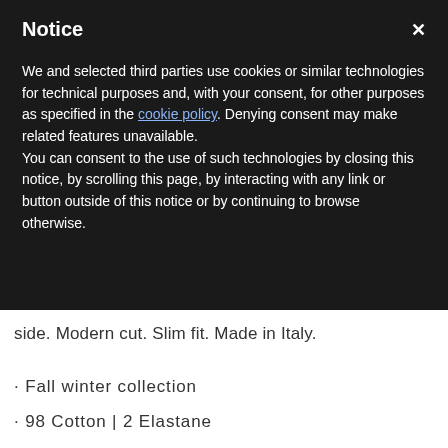Notice
We and selected third parties use cookies or similar technologies for technical purposes and, with your consent, for other purposes as specified in the cookie policy. Denying consent may make related features unavailable.
You can consent to the use of such technologies by closing this notice, by scrolling this page, by interacting with any link or button outside of this notice or by continuing to browse otherwise.
side. Modern cut. Slim fit. Made in Italy.
· Fall winter collection
· 98 Cotton | 2 Elastane
· Slim fit